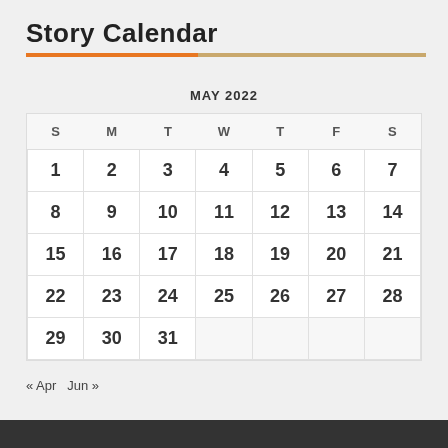Story Calendar
MAY 2022
| S | M | T | W | T | F | S |
| --- | --- | --- | --- | --- | --- | --- |
| 1 | 2 | 3 | 4 | 5 | 6 | 7 |
| 8 | 9 | 10 | 11 | 12 | 13 | 14 |
| 15 | 16 | 17 | 18 | 19 | 20 | 21 |
| 22 | 23 | 24 | 25 | 26 | 27 | 28 |
| 29 | 30 | 31 |  |  |  |  |
« Apr   Jun »